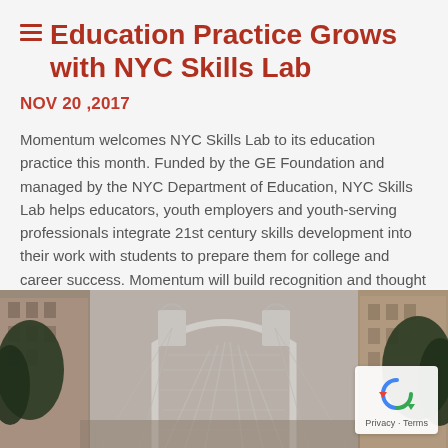Education Practice Grows with NYC Skills Lab
NOV 20 ,2017
Momentum welcomes NYC Skills Lab to its education practice this month. Funded by the GE Foundation and managed by the NYC Department of Education, NYC Skills Lab helps educators, youth employers and youth-serving professionals integrate 21st century skills development into their work with students to prepare them for college and career success. Momentum will build recognition and thought leadership for…
[Figure (photo): Street-level photograph of the Manhattan Bridge arch framed by urban buildings and trees, taken from a narrow street below.]